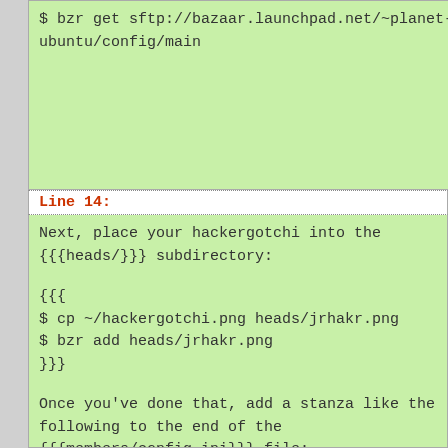$ bzr get sftp://bazaar.launchpad.net/~planet-ubuntu/config/main
Once {{{c
{{{[http
name
face
nick
Line 14:
Line
Next, place your hackergotchi into the {{{heads/}}} subdirectory:

{{{
$ cp ~/hackergotchi.png heads/jrhakr.png
$ bzr add heads/jrhakr.png
}}}

Once you've done that, add a stanza like the following to the end of the {{{members/config.ini}}} file:

{{{
[http://blog.example.com/~jrhakr/feed?
/!\ Ple